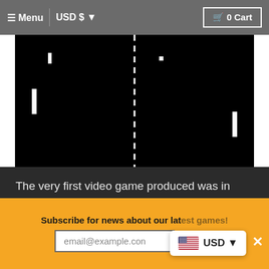≡ Menu  |  USD $  ▼   🛒 0 Cart
[Figure (screenshot): Pong video game screenshot on black background showing two white paddles and a dashed center line]
The very first video game produced was in February 1962, made by a group of MIT engineers and was actually called Spacewar!, this was never released commercially despite its popularity in the
Subscribe for news about our latest games!
email@example.com  GO
[Figure (other): USD currency selector dropdown with US flag]